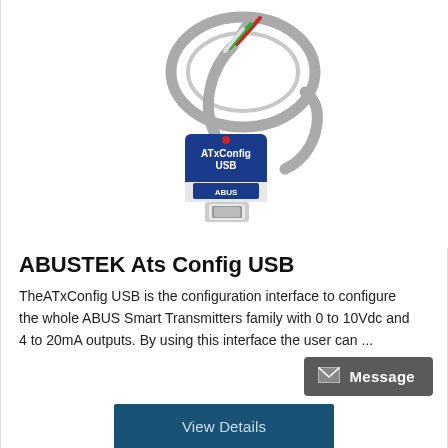[Figure (photo): Photo of ATxConfig USB device – a small blue/white USB dongle with colored wires (grey, red, green, white) coiled above it, and a USB-A connector at the bottom. The device is labeled 'ATxConfig USB' and has the ABUS logo.]
ABUSTEK Ats Config USB
TheATxConfig USB is the configuration interface to configure the whole ABUS Smart Transmitters family with 0 to 10Vdc and 4 to 20mA outputs. By using this interface the user can ...